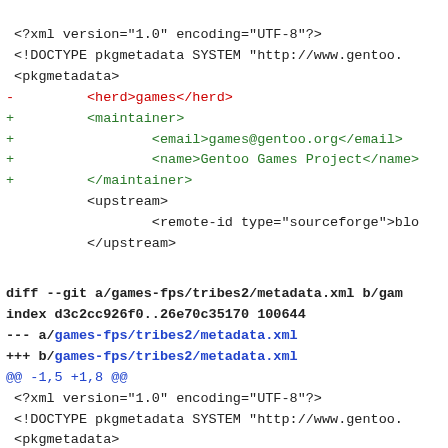<?xml version="1.0" encoding="UTF-8"?>
 <!DOCTYPE pkgmetadata SYSTEM "http://www.gentoo.
 <pkgmetadata>
-         <herd>games</herd>
+         <maintainer>
+                 <email>games@gentoo.org</email>
+                 <name>Gentoo Games Project</name>
+         </maintainer>
         <upstream>
                 <remote-id type="sourceforge">blo
         </upstream>
diff --git a/games-fps/tribes2/metadata.xml b/gam
index d3c2cc926f0..26e70c35170 100644
--- a/games-fps/tribes2/metadata.xml
+++ b/games-fps/tribes2/metadata.xml
@@ -1,5 +1,8 @@
 <?xml version="1.0" encoding="UTF-8"?>
 <!DOCTYPE pkgmetadata SYSTEM "http://www.gentoo.
 <pkgmetadata>
-<herd>games</herd>
+<maintainer>